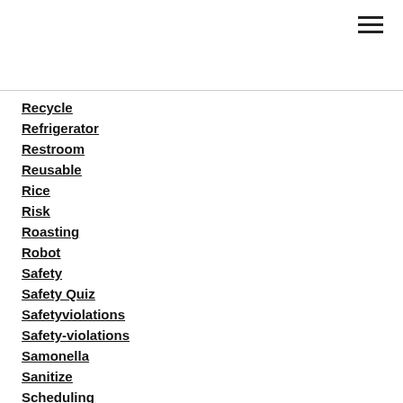Recycle
Refrigerator
Restroom
Reusable
Rice
Risk
Roasting
Robot
Safety
Safety Quiz
Safetyviolations
Safety-violations
Samonella
Sanitize
Scheduling
Score
Seniors